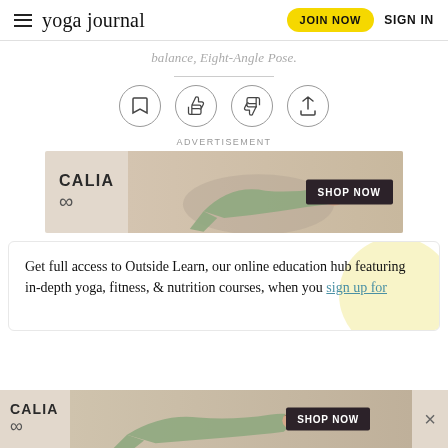yoga journal | JOIN NOW | SIGN IN
balance, Eight-Angle Pose.
[Figure (other): Row of four circular icon buttons: bookmark, thumbs up, thumbs down, share]
ADVERTISEMENT
[Figure (other): CALIA advertisement banner with woman in yoga pose and SHOP NOW button]
Get full access to Outside Learn, our online education hub featuring in-depth yoga, fitness, & nutrition courses, when you sign up for
[Figure (other): CALIA sticky bottom advertisement banner with woman in yoga pose and SHOP NOW button]